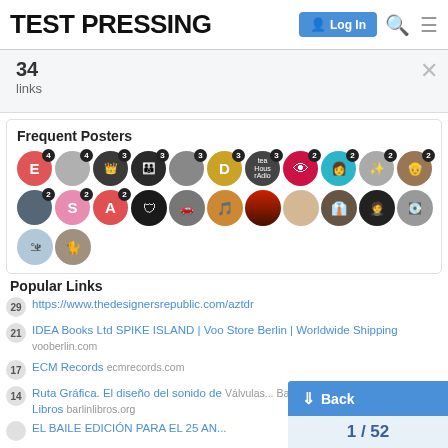TEST PRESSING | Log In
34
links
Frequent Posters
[Figure (infographic): Grid of circular avatar icons for frequent posters, each with a badge number indicating post count (4, 4, 3, 3, 3, 3, 3, 2, 2, 2, 2, 2, 2, 2, 2, 2, 2)]
Popular Links
29 https://www.thedesignersrepublic.com/aztdr
21 IDEA Books Ltd SPIKE ISLAND | Voo Store Berlin | Worldwide Shipping vooberlin.com
17 ECM Records ecmrecords.com
14 Ruta Gráfica. El diseño del sonido de... barlinlibros.org
EL BAILE EDICIÓN PARA EL 25 AN...
1 / 52